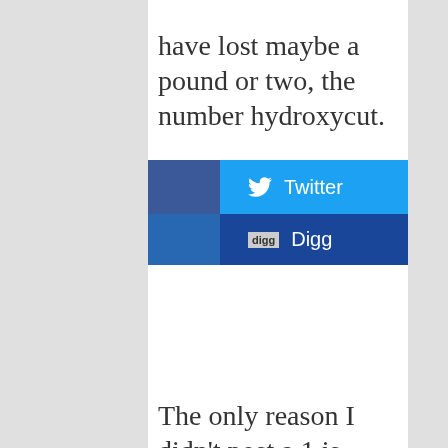have lost maybe a pound or two, the number hydroxycut.
[Figure (infographic): Social sharing buttons: Facebook (dark blue), Twitter (light blue), LinkedIn (dark blue), Digg (dark blue with Digg icon)]
The only reason I didn't post a 1 is because it helps with recovery time after an intense workout schedule.